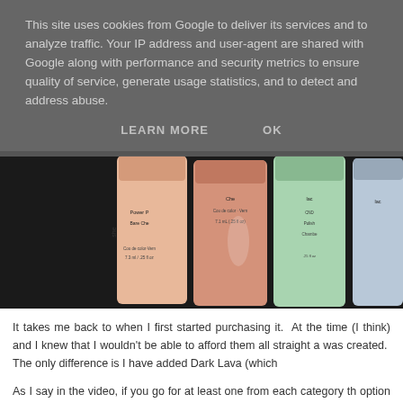This site uses cookies from Google to deliver its services and to analyze traffic. Your IP address and user-agent are shared with Google along with performance and security metrics to ensure quality of service, generate usage statistics, and to detect and address abuse.
LEARN MORE    OK
[Figure (photo): Close-up photo of nail polish bottles in pink/peach and mint green colors with labels visible]
It takes me back to when I first started purchasing it.  At the time (I think) and I knew that I wouldn't be able to afford them all straight away was created.  The only difference is I have added Dark Lava (which
As I say in the video, if you go for at least one from each category th option for every type of client and you can build your collection from
I actually filmed this video a few weeks ago and included a bonus recommended if you could push the boat out a little.  They were Ice and Gold VIP Status which I found out right before I uploaded